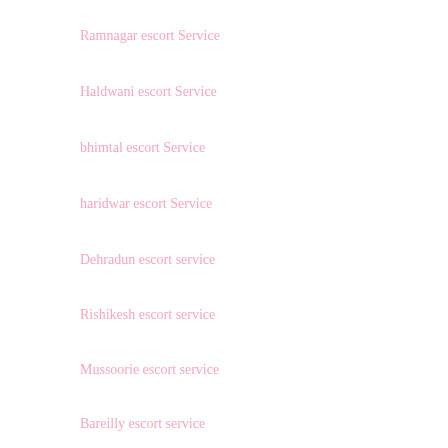Ramnagar escort Service
Haldwani escort Service
bhimtal escort Service
haridwar escort Service
Dehradun escort service
Rishikesh escort service
Mussoorie escort service
Bareilly escort service
Nainital escort service